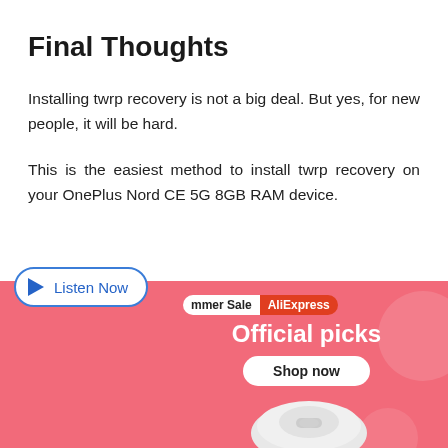Final Thoughts
Installing twrp recovery is not a big deal. But yes, for new people, it will be hard.
This is the easiest method to install twrp recovery on your OnePlus Nord CE 5G 8GB RAM device.
[Figure (infographic): Advertisement banner: A 'Listen Now' audio button on the left overlapping an AliExpress Summer Sale banner on the right. The banner has a pink/salmon background with 'Summer Sale' and 'AliExpress' tags, 'Official picks' headline, 'Shop now' button, and a partial product image at the bottom.]